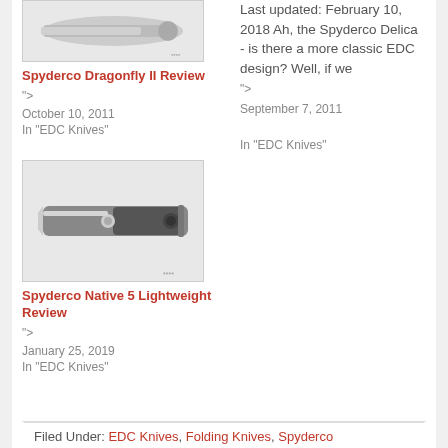[Figure (photo): Photo of a folding knife (Spyderco Dragonfly II) with watermark]
Spyderco Dragonfly II Review
">
October 10, 2011
In "EDC Knives"
Last updated: February 10, 2018 Ah, the Spyderco Delica - is there a more classic EDC design? Well, if we
">
September 7, 2011
In "EDC Knives"
[Figure (photo): Photo of a folding knife (Spyderco Native 5 Lightweight) with watermark]
Spyderco Native 5 Lightweight Review
">
January 25, 2019
In "EDC Knives"
Filed Under: EDC Knives, Folding Knives, Spyderco